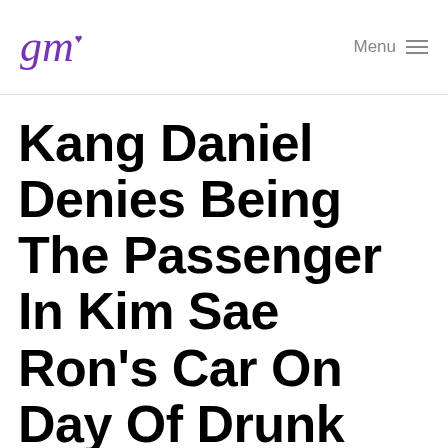gm Menu
Kang Daniel Denies Being The Passenger In Kim Sae Ron's Car On Day Of Drunk Driving. Here Is How